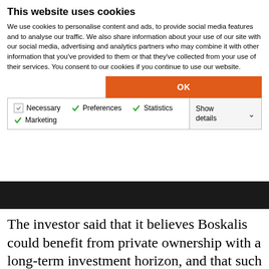This website uses cookies
We use cookies to personalise content and ads, to provide social media features and to analyse our traffic. We also share information about your use of our site with our social media, advertising and analytics partners who may combine it with other information that you've provided to them or that they've collected from your use of their services. You consent to our cookies if you continue to use our website.
OK
Necessary  Preferences  Statistics  Marketing  Show details
The investor said that it believes Boskalis could benefit from private ownership with a long-term investment horizon, and that such private ownership could also enhance M&A opportunities, given the company's business characteristics, the long-term nature of its larger projects, typically spanning multiple years, and